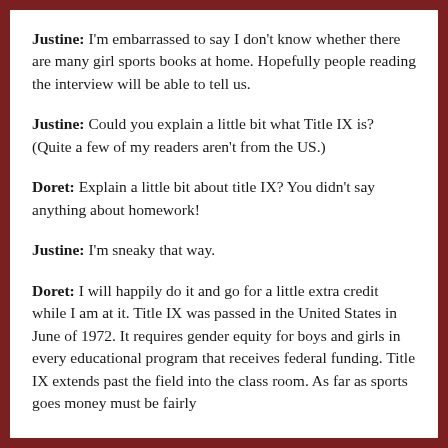Justine: I'm embarrassed to say I don't know whether there are many girl sports books at home. Hopefully people reading the interview will be able to tell us.
Justine: Could you explain a little bit what Title IX is? (Quite a few of my readers aren't from the US.)
Doret: Explain a little bit about title IX? You didn't say anything about homework!
Justine: I'm sneaky that way.
Doret: I will happily do it and go for a little extra credit while I am at it. Title IX was passed in the United States in June of 1972. It requires gender equity for boys and girls in every educational program that receives federal funding. Title IX extends past the field into the class room. As far as sports goes money must be fairly